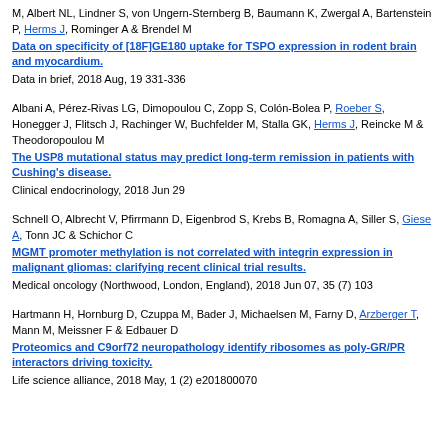M, Albert NL, Lindner S, von Ungern-Sternberg B, Baumann K, Zwergal A, Bartenstein P, Herms J, Rominger A & Brendel M
Data on specificity of [18F]GE180 uptake for TSPO expression in rodent brain and myocardium.
Data in brief, 2018 Aug, 19 331-336
Albani A, Pérez-Rivas LG, Dimopoulou C, Zopp S, Colón-Bolea P, Roeber S, Honegger J, Flitsch J, Rachinger W, Buchfelder M, Stalla GK, Herms J, Reincke M & Theodoropoulou M
The USP8 mutational status may predict long-term remission in patients with Cushing's disease.
Clinical endocrinology, 2018 Jun 29
Schnell O, Albrecht V, Pfirrmann D, Eigenbrod S, Krebs B, Romagna A, Siller S, Giese A, Tonn JC & Schichor C
MGMT promoter methylation is not correlated with integrin expression in malignant gliomas: clarifying recent clinical trial results.
Medical oncology (Northwood, London, England), 2018 Jun 07, 35 (7) 103
Hartmann H, Hornburg D, Czuppa M, Bader J, Michaelsen M, Farny D, Arzberger T, Mann M, Meissner F & Edbauer D
Proteomics and C9orf72 neuropathology identify ribosomes as poly-GR/PR interactors driving toxicity.
Life science alliance, 2018 May, 1 (2) e201800070